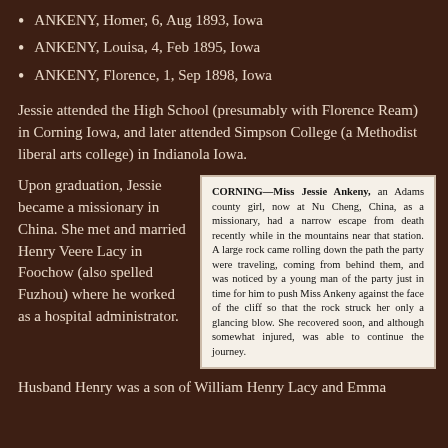ANKENY, Homer, 6, Aug 1893, Iowa
ANKENY, Louisa, 4, Feb 1895, Iowa
ANKENY, Florence, 1, Sep 1898, Iowa
Jessie attended the High School (presumably with Florence Ream) in Corning Iowa, and later attended Simpson College (a Methodist liberal arts college) in Indianola Iowa.
Upon graduation, Jessie became a missionary in China. She met and married Henry Veere Lacy in Foochow (also spelled Fuzhou) where he worked as a hospital administrator.
[Figure (photo): Newspaper clipping about CORNING—Miss Jessie Ankeny, an Adams county girl, now at Nu Cheng, China, as a missionary, had a narrow escape from death recently while in the mountains near that station. A large rock came rolling down the path the party were traveling, coming from behind them, and was noticed by a young man of the party just in time for him to push Miss Ankeny against the face of the cliff so that the rock struck her only a glancing blow. She recovered soon, and although somewhat injured, was able to continue the journey.]
Husband Henry was a son of William Henry Lacy and Emma